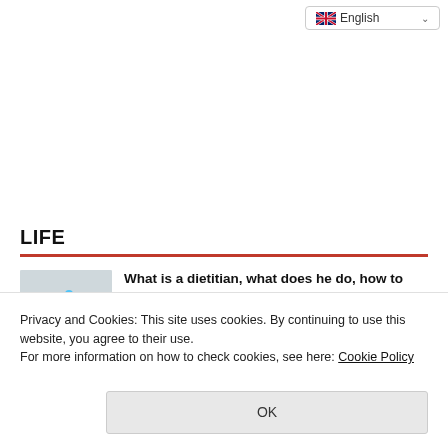English
LIFE
[Figure (photo): Photo of a person's hand writing with a pen, with colorful wristband visible]
What is a dietitian, what does he do, how to become a dietitian? Dietitian Salaries 2022
Privacy and Cookies: This site uses cookies. By continuing to use this website, you agree to their use.
For more information on how to check cookies, see here: Cookie Policy
OK